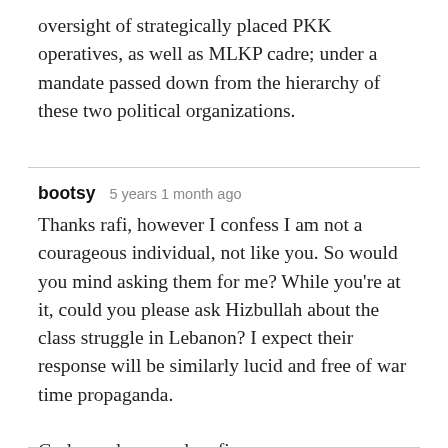oversight of strategically placed PKK operatives, as well as MLKP cadre; under a mandate passed down from the hierarchy of these two political organizations.
bootsy   5 years 1 month ago
Thanks rafi, however I confess I am not a courageous individual, not like you. So would you mind asking them for me? While you're at it, could you please ask Hizbullah about the class struggle in Lebanon? I expect their response will be similarly lucid and free of war time propaganda.

God speed, comrade rafi...